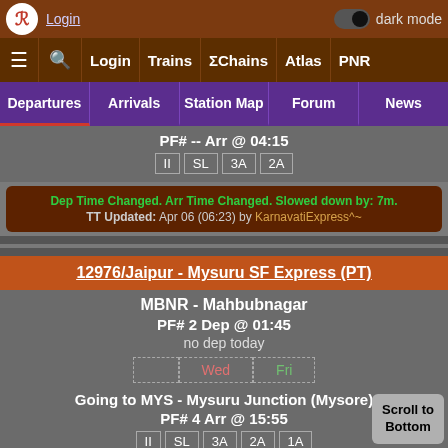Login | dark mode | ≡ 🔍 Login Trains ΣChains Atlas PNR
Departures | Arrivals | Station Map | Forum | News
PF# -- Arr @ 04:15
II SL 3A 2A
Dep Time Changed. Arr Time Changed. Slowed down by: 7m. TT Updated: Apr 06 (06:23) by KarnavatiExpress^~
12976/Jaipur - Mysuru SF Express (PT)
MBNR - Mahbubnagar
PF# 2 Dep @ 01:45
no dep today
Wed | Fri
Going to MYS - Mysuru Junction (Mysore)
PF# 4 Arr @ 15:55
II SL 3A 2A 1A
Dep Time Changed. Arr Time Changed. Speeded up by: 6m
Scroll to Bottom